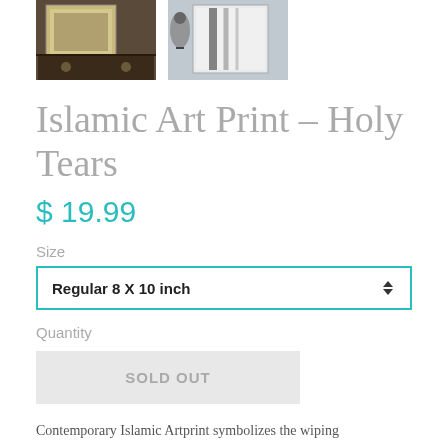[Figure (photo): Two thumbnail product images of Islamic art prints]
Islamic Art Print - Holy Tears
$ 19.99
Size
Regular 8 X 10 inch
Quantity
SOLD OUT
Contemporary Islamic Artprint symbolizes the wiping